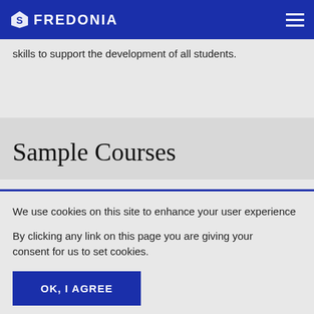FREDONIA
skills to support the development of all students.
Sample Courses
We use cookies on this site to enhance your user experience
By clicking any link on this page you are giving your consent for us to set cookies.
OK, I AGREE